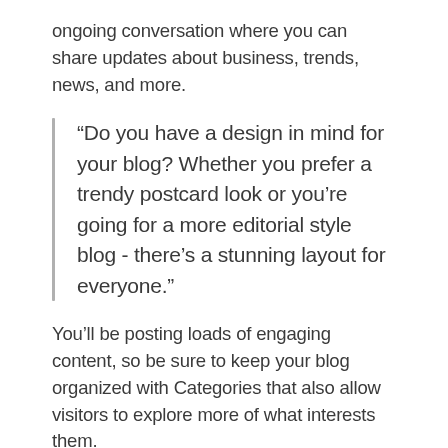ongoing conversation where you can share updates about business, trends, news, and more.
“Do you have a design in mind for your blog? Whether you prefer a trendy postcard look or you’re going for a more editorial style blog - there’s a stunning layout for everyone.”
You’ll be posting loads of engaging content, so be sure to keep your blog organized with Categories that also allow visitors to explore more of what interests them.